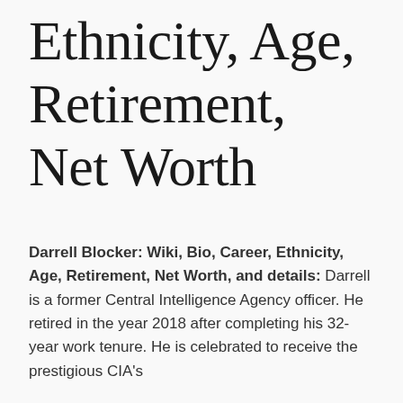Ethnicity, Age, Retirement, Net Worth
Darrell Blocker: Wiki, Bio, Career, Ethnicity, Age, Retirement, Net Worth, and details: Darrell is a former Central Intelligence Agency officer. He retired in the year 2018 after completing his 32-year work tenure. He is celebrated to receive the prestigious CIA's